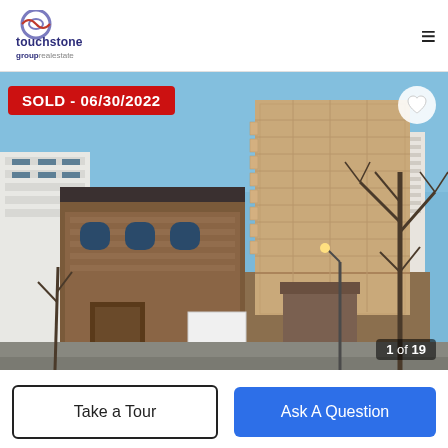[Figure (logo): Touchstone Group Real Estate logo — circular icon with stylized eye/lens and company name below]
[Figure (photo): Exterior photo of a multi-story condominium building, approximately 15 stories tall, tan/beige facade with balconies, blue sky background, bare trees to the right, adjacent older brick townhouse to the left, street-level parking garage entrance visible. SOLD badge top-left, heart icon top-right, image counter '1 of 19' bottom-right.]
SOLD - 06/30/2022
1 of 19
Take a Tour
Ask A Question